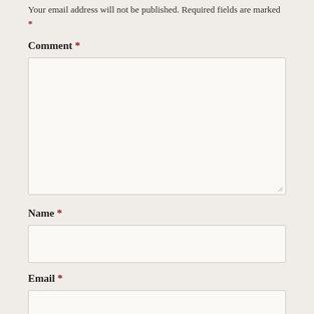Your email address will not be published. Required fields are marked *
Comment *
[Figure (screenshot): Empty comment textarea input box with resize handle]
Name *
[Figure (screenshot): Empty name text input box]
Email *
[Figure (screenshot): Empty email text input box (partially visible)]